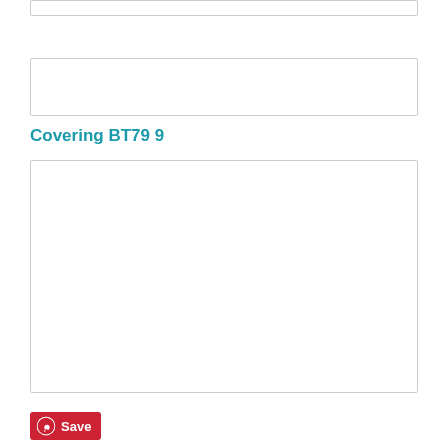[Figure (other): Empty white box with grey border at top of page]
[Figure (other): Empty white box with grey border in middle section]
Covering BT79 9
[Figure (other): Large empty white box with grey border]
[Figure (other): Red Save button with Pinterest circle icon]